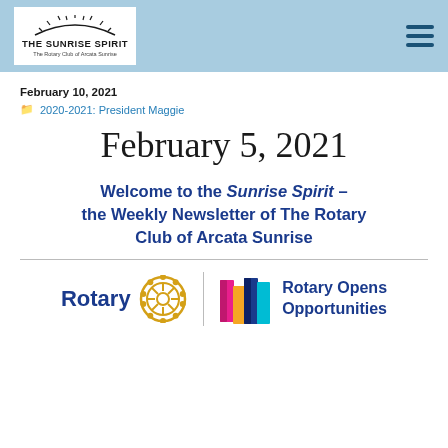THE SUNRISE SPIRIT - The Rotary Club of Arcata Sunrise
February 10, 2021
2020-2021: President Maggie
February 5, 2021
Welcome to the Sunrise Spirit – the Weekly Newsletter of The Rotary Club of Arcata Sunrise
[Figure (logo): Rotary International logo with gear wheel emblem and 'Rotary Opens Opportunities' slogan with colorful door icons]